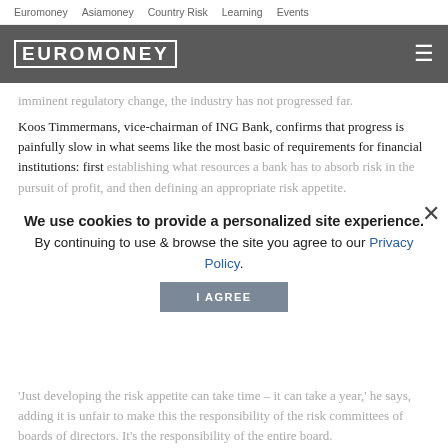Euromoney   Asiamoney   Country Risk   Learning   Events
[Figure (logo): Euromoney logo in white on grey bar with hamburger menu icon]
imminent regulatory change, the industry has not progressed far.
Koos Timmermans, vice-chairman of ING Bank, confirms that progress is painfully slow in what seems like the most basic of requirements for financial institutions: first establishing what resources a bank has to absorb risk in the pursuit of profit, and then defining an appropriate risk appetite.
We use cookies to provide a personalized site experience.
By continuing to use & browse the site you agree to our Privacy Policy.
I AGREE
'Just developing the risk appetite can take time – it can take a year,' he says, adding it is unfair to make this the responsibility of the risk committees of boards of directors. It's the responsibility of the entire board.